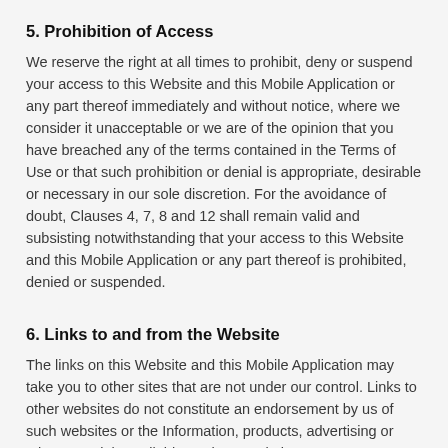5. Prohibition of Access
We reserve the right at all times to prohibit, deny or suspend your access to this Website and this Mobile Application or any part thereof immediately and without notice, where we consider it unacceptable or we are of the opinion that you have breached any of the terms contained in the Terms of Use or that such prohibition or denial is appropriate, desirable or necessary in our sole discretion. For the avoidance of doubt, Clauses 4, 7, 8 and 12 shall remain valid and subsisting notwithstanding that your access to this Website and this Mobile Application or any part thereof is prohibited, denied or suspended.
6. Links to and from the Website
The links on this Website and this Mobile Application may take you to other sites that are not under our control. Links to other websites do not constitute an endorsement by us of such websites or the Information, products, advertising or other materials available on those websites. You acknowledge and agree that we have no responsibility for the content, accuracy or availability of any Information provided by linked websites or